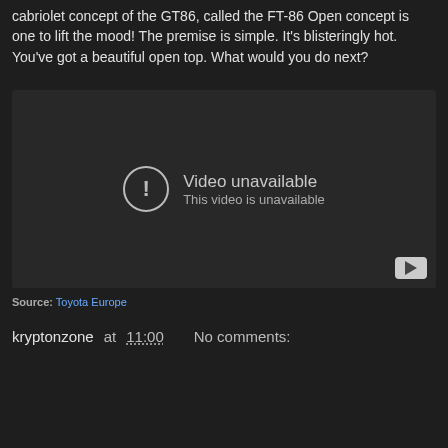cabriolet concept of the GT86, called the FT-86 Open concept is one to lift the mood! The premise is simple. It's blisteringly hot. You've got a beautiful open top. What would you do next?
[Figure (screenshot): YouTube video player showing 'Video unavailable - This video is unavailable' error message on a dark background, with YouTube logo button in bottom right corner.]
Source: Toyota Europe
kryptonzone at 11:00   No comments:
Share